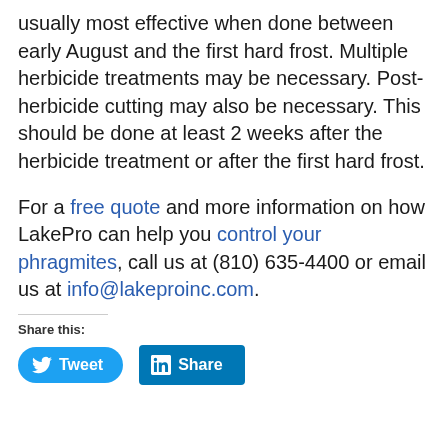usually most effective when done between early August and the first hard frost. Multiple herbicide treatments may be necessary. Post-herbicide cutting may also be necessary. This should be done at least 2 weeks after the herbicide treatment or after the first hard frost.
For a free quote and more information on how LakePro can help you control your phragmites, call us at (810) 635-4400 or email us at info@lakeproinc.com.
Share this: